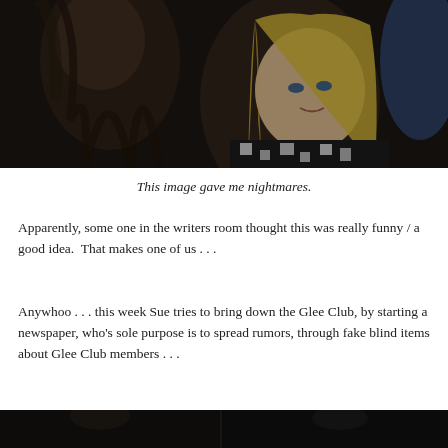[Figure (photo): A dark scene showing a woman with blonde hair looking forward, wearing a black and white patterned top, with another person partially visible in the foreground]
This image gave me nightmares.
Apparently, some one in the writers room thought this was really funny / a good idea.  That makes one of us . . .
Anywhoo . . . this week Sue tries to bring down the Glee Club, by starting a newspaper, who’s sole purpose is to spread rumors, through fake blind items about Glee Club members . . .
[Figure (photo): A dark scene at the bottom of the page, partially visible, showing two people]